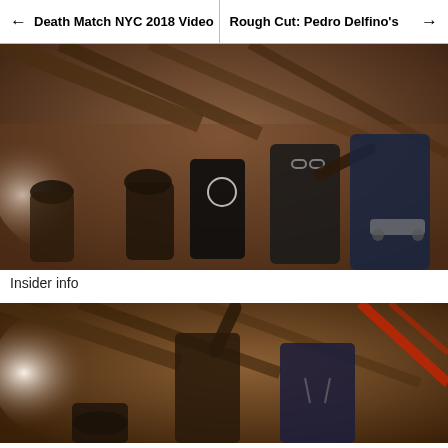← Death Match NYC 2018 Video | Rough Cut: Pedro Delfino's →
[Figure (photo): Group of skateboarders inside a warehouse, one older man with glasses pointing and giving directions to a younger skater holding a skateboard. Several other skaters stand in background.]
Insider info
[Figure (photo): Two people inside a warehouse, one older man pointing upward while a younger person in a hoodie stands beside him. Another person visible in foreground.]